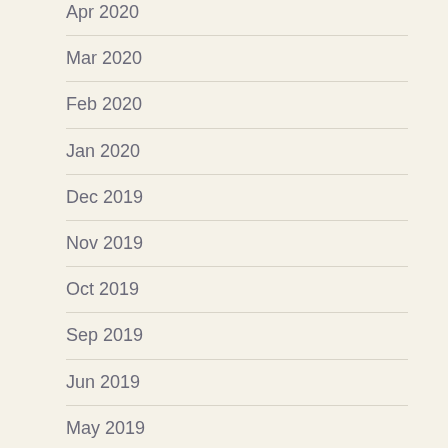Apr 2020
Mar 2020
Feb 2020
Jan 2020
Dec 2019
Nov 2019
Oct 2019
Sep 2019
Jun 2019
May 2019
Apr 2019